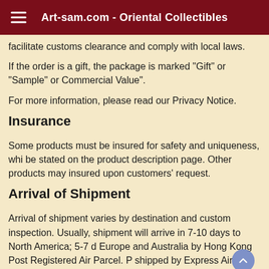Art-sam.com - Oriental Collectibles
facilitate customs clearance and comply with local laws.
If the order is a gift, the package is marked "Gift" or "Sample" or Commercial Value".
For more information, please read our Privacy Notice.
Insurance
Some products must be insured for safety and uniqueness, which will be stated on the product description page. Other products may be insured upon customers' request.
Arrival of Shipment
Arrival of shipment varies by destination and custom inspection. Usually, shipment will arrive in 7-10 days to North America; 5-7 days to Europe and Australia by Hong Kong Post Registered Air Parcel. Products shipped by Express Air Parcel can be tracked online, we will issue the delivery code and you may check your products at the carrier's website (DHL, UPS, or Hong Kong Post SpeedPost).
Please contact us if you have any further enquires.